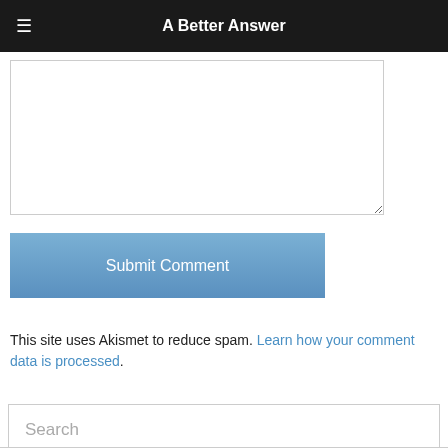A Better Answer
[Figure (screenshot): Comment textarea input box, empty, with resize handle]
[Figure (screenshot): Submit Comment button, blue gradient background]
This site uses Akismet to reduce spam. Learn how your comment data is processed.
[Figure (screenshot): Search input box with placeholder text 'Search']